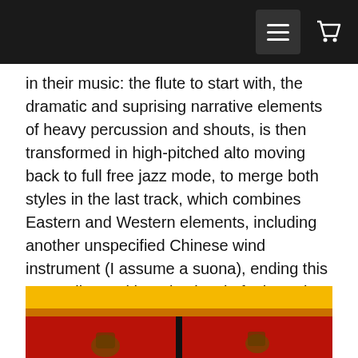Navigation bar with menu and cart icons
in their music: the flute to start with, the dramatic and suprising narrative elements of heavy percussion and shouts, is then transformed in high-pitched alto moving back to full free jazz mode, to merge both styles in the last track, which combines Eastern and Western elements, including another unspecified Chinese wind instrument (I assume a suona), ending this great album with a nice level of ethereal and light effects. Despite the relative short length of an LP, the duo manage to give listeners a wide and broad musical journey, through styles and continents and time zones, but all brought with a single vision. Luckily for fans, the music is also available digitally.
[Figure (photo): Album cover image showing yellow, orange, and red color bands with dark figures on a red background, split by a central black divider]